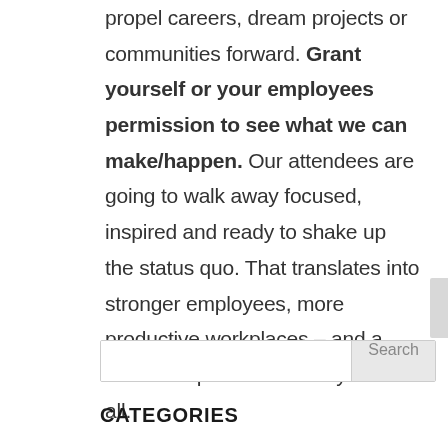propel careers, dream projects or communities forward. Grant yourself or your employees permission to see what we can make/happen. Our attendees are going to walk away focused, inspired and ready to shake up the status quo. That translates into stronger employees, more productive workplaces – and a more complete community for us all.
Search
CATEGORIES